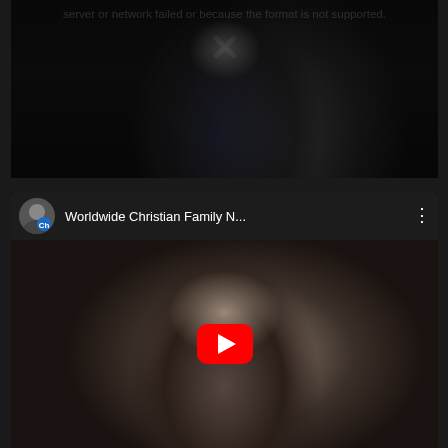[Figure (screenshot): Top video player showing an error state with a dark background, a person sitting at a desk in the background (nearly invisible), with error text and an X symbol overlaid]
server or network failed or because the format is not supported.
[Figure (screenshot): YouTube embedded video player showing 'Worldwide Christian Family N...' with a channel avatar (man's photo with Ch overlay), three-dot menu, and a thumbnail of a person with long dark hair with the YouTube red play button overlay]